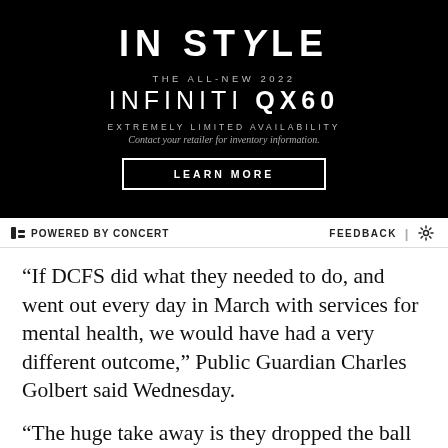[Figure (other): Advertisement for the all-new 2022 Infiniti QX60 on a black background. Text reads: IN STYLE, THE ALL-NEW 2022, INFINITI QX60, EXTREMELY LIMITED AVAILABILITY, Contact your retailer for inventory information. Button: LEARN MORE.]
⚡ POWERED BY CONCERT   FEEDBACK | ⚙
“If DCFS did what they needed to do, and went out every day in March with services for mental health, we would have had a very different outcome,” Public Guardian Charles Golbert said Wednesday.
“The huge take away is they dropped the ball for two months,” Golbert said. “Under the regulations, when they get a report of abuse, they have to see the child and